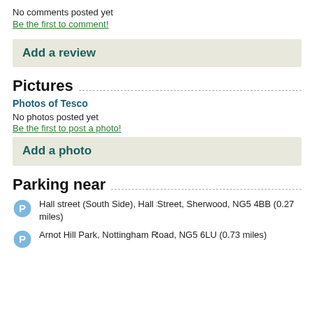No comments posted yet
Be the first to comment!
Add a review
Pictures
Photos of Tesco
No photos posted yet
Be the first to post a photo!
Add a photo
Parking near
Hall street (South Side), Hall Street, Sherwood, NG5 4BB (0.27 miles)
Arnot Hill Park, Nottingham Road, NG5 6LU (0.73 miles)